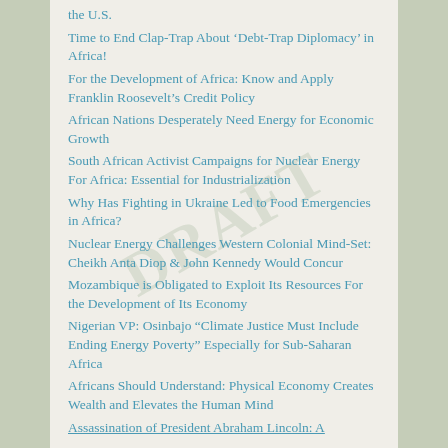the U.S.
Time to End Clap-Trap About ‘Debt-Trap Diplomacy’ in Africa!
For the Development of Africa: Know and Apply Franklin Roosevelt’s Credit Policy
African Nations Desperately Need Energy for Economic Growth
South African Activist Campaigns for Nuclear Energy For Africa: Essential for Industrialization
Why Has Fighting in Ukraine Led to Food Emergencies in Africa?
Nuclear Energy Challenges Western Colonial Mind-Set: Cheikh Anta Diop & John Kennedy Would Concur
Mozambique is Obligated to Exploit Its Resources For the Development of Its Economy
Nigerian VP: Osinbajo “Climate Justice Must Include Ending Energy Poverty” Especially for Sub-Saharan Africa
Africans Should Understand: Physical Economy Creates Wealth and Elevates the Human Mind
Assassination of President Abraham Lincoln: A